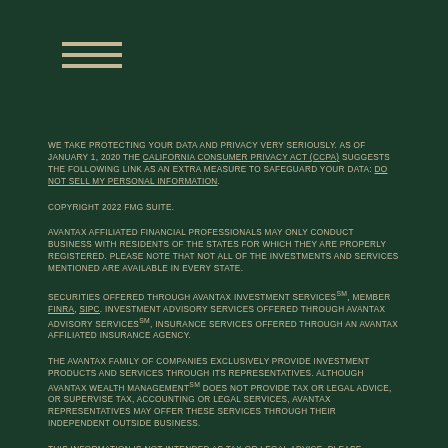[Figure (other): Hamburger menu icon with three horizontal lines]
We take protecting your data and privacy very seriously. As of January 1, 2020 the California Consumer Privacy Act (CCPA) suggests the following link as an extra measure to safeguard your data: Do not sell my personal information.
Copyright 2022 FMG Suite.
Avantax affiliated financial professionals may only conduct business with residents of the states for which they are properly registered. Please note that not all of the investments and services mentioned are available in every state.
Securities offered through Avantax Investment ServicesSM, Member FINRA, SIPC. Investment advisory services offered through Avantax Advisory ServicesSM, Insurance services offered through an Avantax affiliated insurance agency.
The Avantax family of companies exclusively provide investment products and services through its representatives. Although Avantax Wealth ManagementSM does not provide tax or legal advice, or supervise tax, accounting or legal services, Avantax representatives may offer these services through their independent outside business.
This information is not intended as tax or legal advice. Please consult legal or